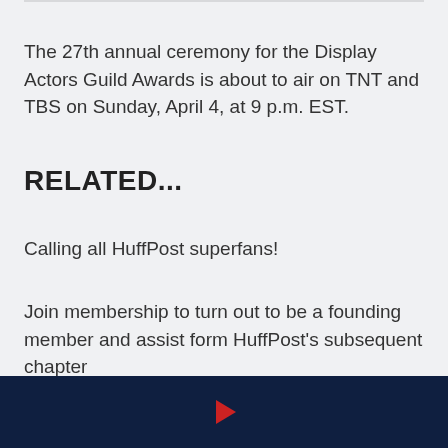The 27th annual ceremony for the Display Actors Guild Awards is about to air on TNT and TBS on Sunday, April 4, at 9 p.m. EST.
RELATED...
Calling all HuffPost superfans!
Join membership to turn out to be a founding member and assist form HuffPost’s subsequent chapter
[Figure (other): Dark navy footer bar with a red play button triangle icon centered]